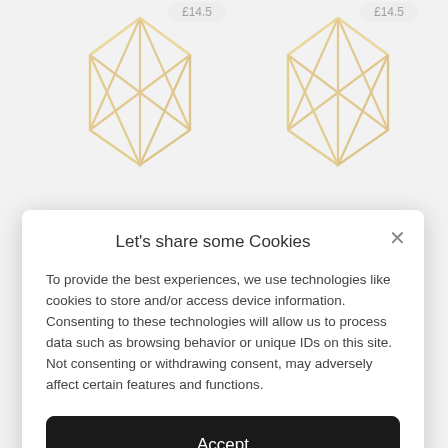[Figure (photo): Two gold geometric wire-frame ring shapes visible at the top of the page behind a cookie consent modal]
Let's share some Cookies
To provide the best experiences, we use technologies like cookies to store and/or access device information. Consenting to these technologies will allow us to process data such as browsing behavior or unique IDs on this site. Not consenting or withdrawing consent, may adversely affect certain features and functions.
Accept
Deny
View preferences